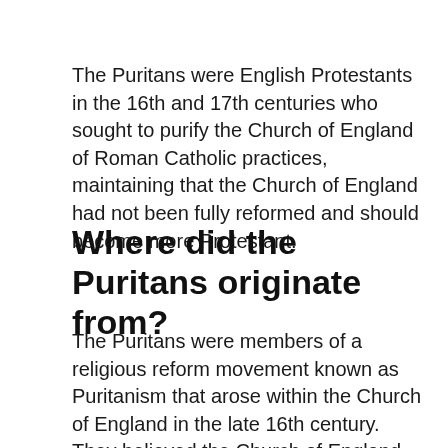The Puritans were English Protestants in the 16th and 17th centuries who sought to purify the Church of England of Roman Catholic practices, maintaining that the Church of England had not been fully reformed and should become more Protestant.
Where did the Puritans originate from?
The Puritans were members of a religious reform movement known as Puritanism that arose within the Church of England in the late 16th century. They believed the Church of England was too similar to the Roman Catholic Church and should eliminate...